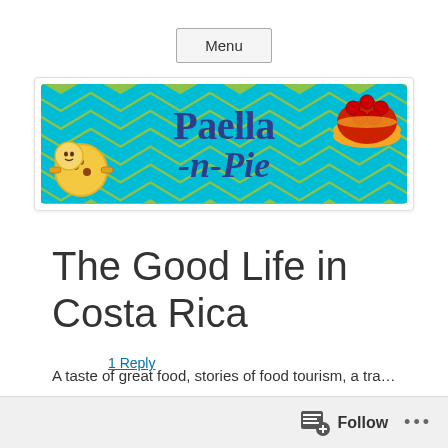Menu
[Figure (logo): Paella-n-Pie blog logo: green background with teal chevron zigzag pattern, bold dark blue text reading 'Paella -n- Pie', with a cartoon paella pan on the left and a cherry pie on the right]
The Good Life in Costa Rica
1 Reply
A subtitle or first sentence of blog post content (truncated)
Follow ...